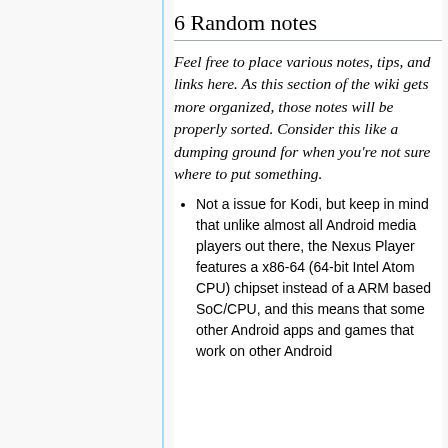6 Random notes
Feel free to place various notes, tips, and links here. As this section of the wiki gets more organized, those notes will be properly sorted. Consider this like a dumping ground for when you're not sure where to put something.
Not a issue for Kodi, but keep in mind that unlike almost all Android media players out there, the Nexus Player features a x86-64 (64-bit Intel Atom CPU) chipset instead of a ARM based SoC/CPU, and this means that some other Android apps and games that work on other Android